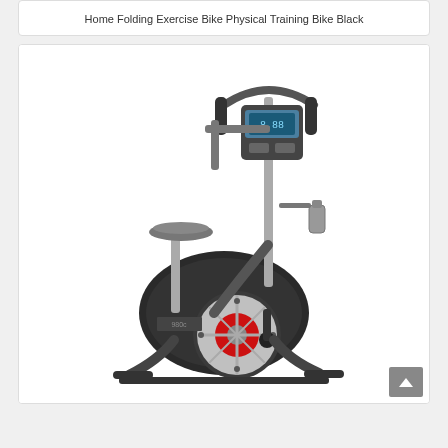Home Folding Exercise Bike Physical Training Bike Black
[Figure (photo): Upright stationary exercise bike with grey and black frame, digital display console, water bottle holder, and red-accented flywheel. Brand label visible on body. White background product photo.]